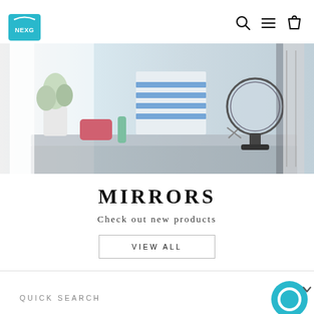NEXG logo and navigation icons (search, menu, cart)
[Figure (photo): Hero banner showing a vanity/desk scene with a round mirror, plant, striped towels, and cosmetics on a light background]
MIRRORS
Check out new products
VIEW ALL
QUICK SEARCH